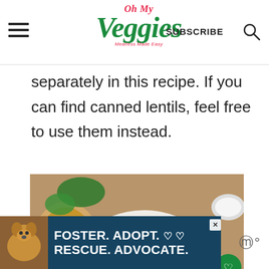Oh My Veggies — Meatless Made Easy | SUBSCRIBE
separately in this recipe. If you can find canned lentils, feel free to use them instead.
[Figure (photo): Overhead view of a plate of eggplant and lentil curry with tomatoes and rice, garnished with fresh cilantro, served alongside flatbread. A fork is visible on the plate. Small bowl of white sauce visible in upper right corner.]
[Figure (infographic): Advertisement banner: blue background with dog photo, text reading FOSTER. ADOPT. RESCUE. ADVOCATE. with heart icons and close button.]